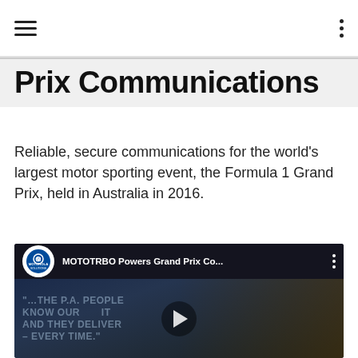Prix Communications
Reliable, secure communications for the world's largest motor sporting event, the Formula 1 Grand Prix, held in Australia in 2016.
[Figure (screenshot): YouTube video thumbnail showing Formula 1 race cars. Title: 'MOTOTRBO Powers Grand Prix Co...' with Motorola Solutions logo. Overlaid quote text: '"...THE P.A. PEOPLE KNOW OUR [play button] IT AND THEY DELIVER – EVERY TIME."']